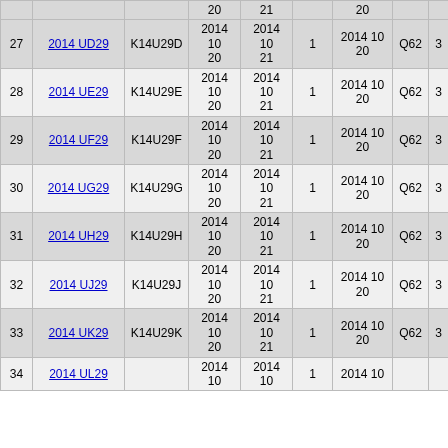| # | Name | Code | Date1 | Date2 | Count | Date3 | Type | Val |
| --- | --- | --- | --- | --- | --- | --- | --- | --- |
|  |  |  | 20 | 21 |  | 20 |  |  |
| 27 | 2014 UD29 | K14U29D | 2014 10 20 | 2014 10 21 | 1 | 2014 10 20 | Q62 | 3 |
| 28 | 2014 UE29 | K14U29E | 2014 10 20 | 2014 10 21 | 1 | 2014 10 20 | Q62 | 3 |
| 29 | 2014 UF29 | K14U29F | 2014 10 20 | 2014 10 21 | 1 | 2014 10 20 | Q62 | 3 |
| 30 | 2014 UG29 | K14U29G | 2014 10 20 | 2014 10 21 | 1 | 2014 10 20 | Q62 | 3 |
| 31 | 2014 UH29 | K14U29H | 2014 10 20 | 2014 10 21 | 1 | 2014 10 20 | Q62 | 3 |
| 32 | 2014 UJ29 | K14U29J | 2014 10 20 | 2014 10 21 | 1 | 2014 10 20 | Q62 | 3 |
| 33 | 2014 UK29 | K14U29K | 2014 10 20 | 2014 10 21 | 1 | 2014 10 20 | Q62 | 3 |
| 34 | 2014 UL29 |  | 2014 10 | 2014 10 | 1 | 2014 10 |  |  |